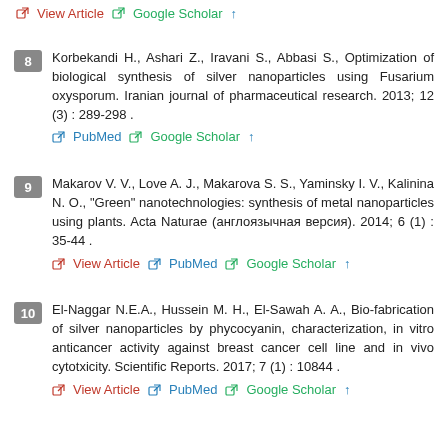View Article  Google Scholar  ↑ (top links)
8  Korbekandi H., Ashari Z., Iravani S., Abbasi S., Optimization of biological synthesis of silver nanoparticles using Fusarium oxysporum. Iranian journal of pharmaceutical research. 2013; 12 (3) : 289-298 .  PubMed  Google Scholar  ↑
9  Makarov V. V., Love A. J., Makarova S. S., Yaminsky I. V., Kalinina N. O., "Green" nanotechnologies: synthesis of metal nanoparticles using plants. Acta Naturae (англоязычная версия). 2014; 6 (1) : 35-44 .  View Article  PubMed  Google Scholar  ↑
10  El-Naggar N.E.A., Hussein M. H., El-Sawah A. A., Bio-fabrication of silver nanoparticles by phycocyanin, characterization, in vitro anticancer activity against breast cancer cell line and in vivo cytotxicity. Scientific Reports. 2017; 7 (1) : 10844 .  View Article  PubMed  Google Scholar  ↑